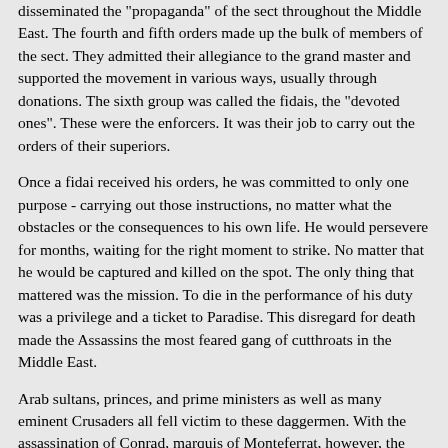disseminated the "propaganda" of the sect throughout the Middle East. The fourth and fifth orders made up the bulk of members of the sect. They admitted their allegiance to the grand master and supported the movement in various ways, usually through donations. The sixth group was called the fidais, the "devoted ones". These were the enforcers. It was their job to carry out the orders of their superiors.
Once a fidai received his orders, he was committed to only one purpose - carrying out those instructions, no matter what the obstacles or the consequences to his own life. He would persevere for months, waiting for the right moment to strike. No matter that he would be captured and killed on the spot. The only thing that mattered was the mission. To die in the performance of his duty was a privilege and a ticket to Paradise. This disregard for death made the Assassins the most feared gang of cutthroats in the Middle East.
Arab sultans, princes, and prime ministers as well as many eminent Crusaders all fell victim to these daggermen. With the assassination of Conrad, marquis of Monteferrat, however, the reputation of the "Old Man of the Mountains" spread far beyond the Middle East to the far reaches of Western Europe. The fidai responsible for the murder spent six months disguised as a monk in the camp of the Crusaders, waiting for just the right opportunity. Finally, the moment came and, in full view of the marquis'